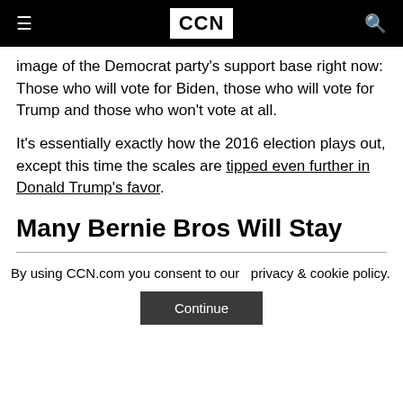CCN
image of the Democrat party's support base right now: Those who will vote for Biden, those who will vote for Trump and those who won't vote at all.
It's essentially exactly how the 2016 election plays out, except this time the scales are tipped even further in Donald Trump's favor.
Many Bernie Bros Will Stay
By using CCN.com you consent to our  privacy & cookie policy.
Continue